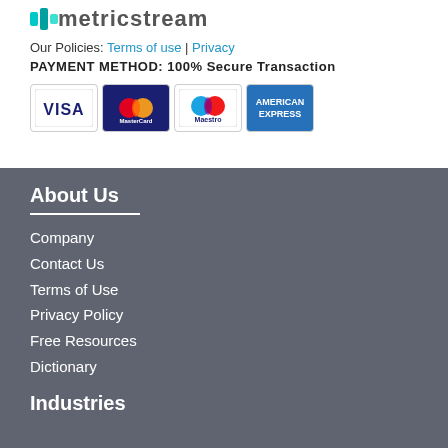[Figure (logo): MetricStream logo with teal icon and gray text]
Our Policies: Terms of use | Privacy
PAYMENT METHOD: 100% Secure Transaction
[Figure (illustration): Payment method icons: VISA, MasterCard, Maestro, American Express]
About Us
Company
Contact Us
Terms of Use
Privacy Policy
Free Resources
Dictionary
Industries